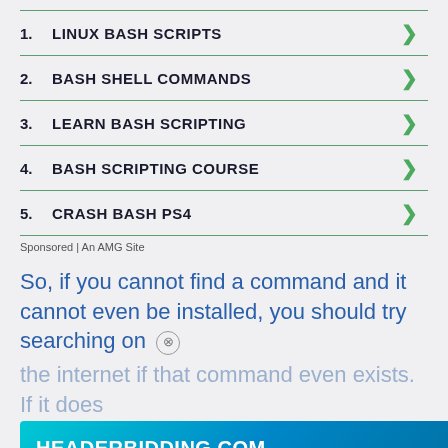1. LINUX BASH SCRIPTS
2. BASH SHELL COMMANDS
3. LEARN BASH SCRIPTING
4. BASH SCRIPTING COURSE
5. CRASH BASH PS4
Sponsored | An AMG Site
So, if you cannot find a command and it cannot even be installed, you should try searching on the internet if that command even exists. If it does
[Figure (screenshot): HEADERBIDDING.COM banner advertisement with tagline 'Your source for all things programmatic advertising.']